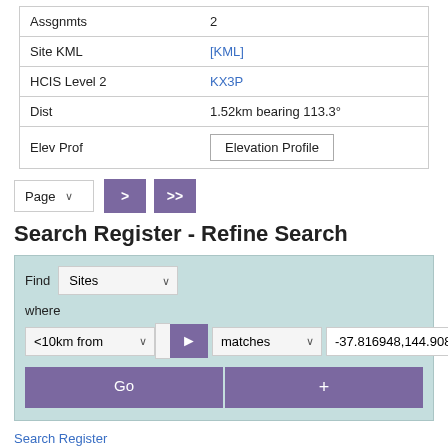| Assgnmts | 2 |
| Site KML | [KML] |
| HCIS Level 2 | KX3P |
| Dist | 1.52km bearing 113.3° |
| Elev Prof | Elevation Profile |
Page > >>
Search Register - Refine Search
Find Sites where <10km from matches -37.816948,144.908677 Go +
Search Register
Licences by Sub Service